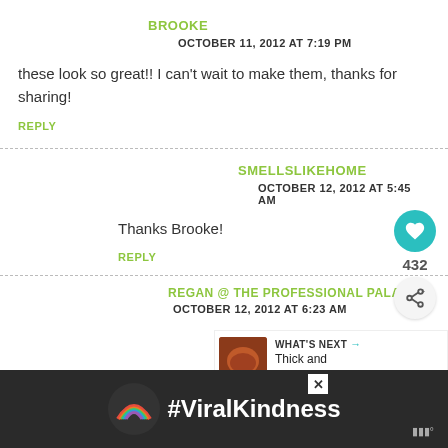BROOKE
OCTOBER 11, 2012 AT 7:19 PM
these look so great!! I can't wait to make them, thanks for sharing!
REPLY
SMELLSLIKEHOME
OCTOBER 12, 2012 AT 5:45 AM
Thanks Brooke!
REPLY
REGAN @ THE PROFESSIONAL PALATE
OCTOBER 12, 2012 AT 6:23 AM
[Figure (infographic): What's Next panel showing Thick and Chewy Doub... with food photo]
[Figure (infographic): #ViralKindness advertisement banner with rainbow graphic]